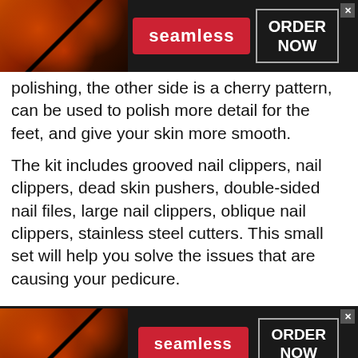[Figure (infographic): Seamless food delivery advertisement banner at top. Dark background with pizza image on left, red Seamless logo badge in center, ORDER NOW button in outlined box on right, close X button top right.]
polishing, the other side is a cherry pattern, can be used to polish more detail for the feet, and give your skin more smooth.
The kit includes grooved nail clippers, nail clippers, dead skin pushers, double-sided nail files, large nail clippers, oblique nail clippers, stainless steel cutters. This small set will help you solve the issues that are causing your pedicure.
[Figure (infographic): Seamless food delivery advertisement banner at bottom. Dark background with pizza image on left, red Seamless logo badge in center, ORDER NOW button in outlined box on right, close X button top right.]